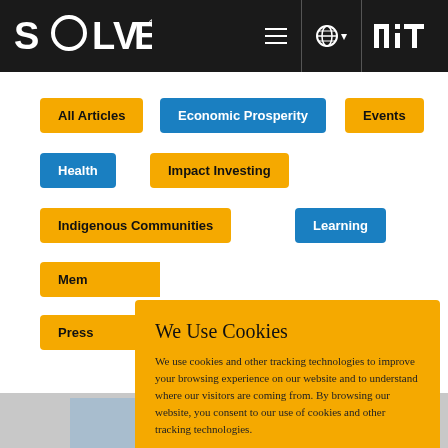SOLVE® navigation bar with hamburger menu, globe icon, and MIT logo
All Articles
Economic Prosperity
Events
Health
Impact Investing
Indigenous Communities
Learning
Mem...
Press...
We Use Cookies
We use cookies and other tracking technologies to improve your browsing experience on our website and to understand where our visitors are coming from. By browsing our website, you consent to our use of cookies and other tracking technologies.
ACCEPT
REJECT